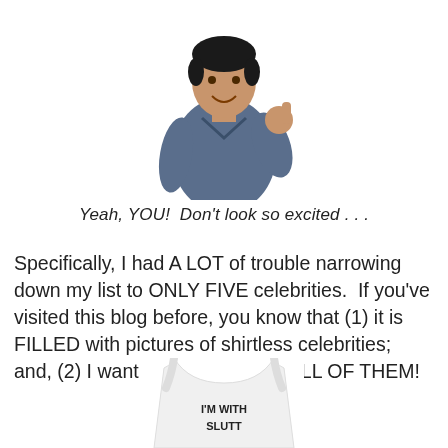[Figure (photo): Man in blue sweater giving thumbs up, smiling, white background cutout]
Yeah, YOU!  Don’t look so excited . . .
Specifically, I had A LOT of trouble narrowing down my list to ONLY FIVE celebrities.  If you've visited this blog before, you know that (1) it is FILLED with pictures of shirtless celebrities; and, (2) I want to SLEEP WITH ALL OF THEM!
[Figure (photo): White tank top/shirt with partial text visible reading I'M WITH and partial next word, cropped at bottom of page]